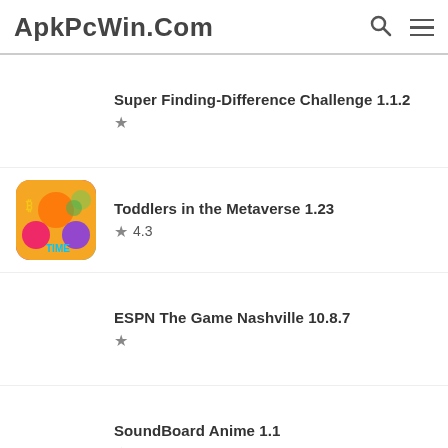ApkPcWin.Com
Super Finding-Difference Challenge 1.1.2
Toddlers in the Metaverse 1.23 ★ 4.3
ESPN The Game Nashville 10.8.7
SoundBoard Anime 1.1